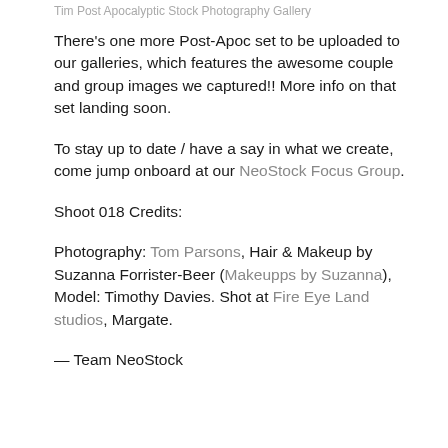Tim Post Apocalyptic Stock Photography Gallery
There's one more Post-Apoc set to be uploaded to our galleries, which features the awesome couple and group images we captured!! More info on that set landing soon.
To stay up to date / have a say in what we create, come jump onboard at our NeoStock Focus Group.
Shoot 018 Credits:
Photography: Tom Parsons, Hair & Makeup by Suzanna Forrister-Beer (Makeupps by Suzanna), Model: Timothy Davies. Shot at Fire Eye Land studios, Margate.
— Team NeoStock